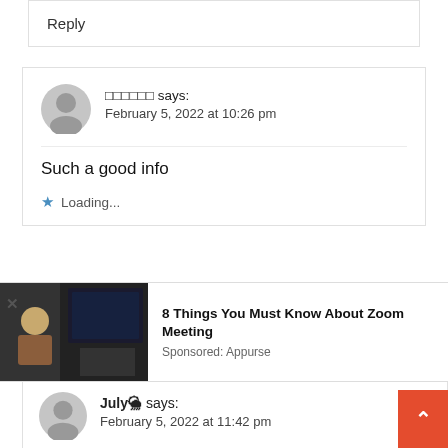Reply
□□□□□□ says:
February 5, 2022 at 10:26 pm
Such a good info
★ Loading...
8 Things You Must Know About Zoom Meeting
Sponsored: Appurse
July🌦 says:
February 5, 2022 at 11:42 pm